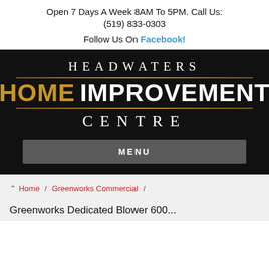Open 7 Days A Week 8AM To 5PM. Call Us: (519) 833-0303
Follow Us On Facebook!
[Figure (logo): Headwaters Home Improvement Centre logo on black background with gold and white text]
MENU
Home / Greenworks Commercial /
Greenworks Dedicated Blower 600...